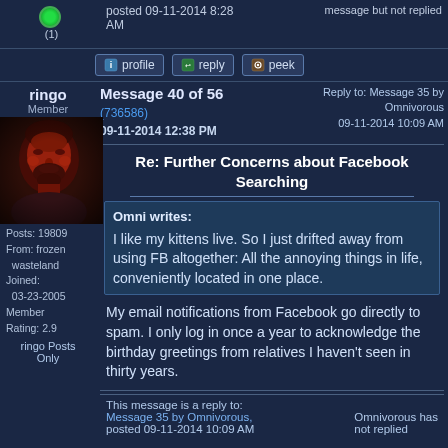posted 09-11-2014 8:28 AM
message but not replied
[Figure (other): Green circle icon with (1)]
profile  reply  peek (action buttons)
ringo
Member
Message 40 of 56
(736586)
09-11-2014 12:38 PM
Reply to: Message 35 by Omnivorous
09-11-2014 10:09 AM
[Figure (photo): Red-tinted dramatic portrait photo of a man with beard]
Re: Further Concerns about Facebook Searching
Omni writes:

I like my kittens live. So I just drifted away from using FB altogether: All the annoying things in life, conveniently located in one place.
My email notifications from Facebook go directly to spam. I only log in once a year to acknowledge the birthday greetings from relatives I haven't seen in thirty years.
Posts: 19809
From: frozen wasteland
Joined: 03-23-2005
Member Rating: 2.9
ringo Posts Only
This message is a reply to:
Message 35 by Omnivorous, posted 09-11-2014 10:09 AM
Omnivorous has not replied